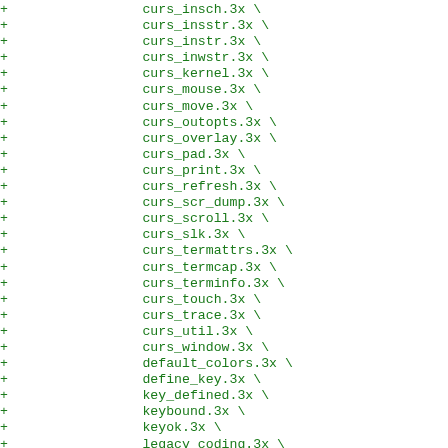+                 curs_insch.3x \
+                 curs_insstr.3x \
+                 curs_instr.3x \
+                 curs_inwstr.3x \
+                 curs_kernel.3x \
+                 curs_mouse.3x \
+                 curs_move.3x \
+                 curs_outopts.3x \
+                 curs_overlay.3x \
+                 curs_pad.3x \
+                 curs_print.3x \
+                 curs_refresh.3x \
+                 curs_scr_dump.3x \
+                 curs_scroll.3x \
+                 curs_slk.3x \
+                 curs_termattrs.3x \
+                 curs_termcap.3x \
+                 curs_terminfo.3x \
+                 curs_touch.3x \
+                 curs_trace.3x \
+                 curs_util.3x \
+                 curs_window.3x \
+                 default_colors.3x \
+                 define_key.3x \
+                 key_defined.3x \
+                 keybound.3x \
+                 keyok.3x \
+                 legacy_coding.3x \
+                 ncurses.3x \
+                 resizeterm.3x \